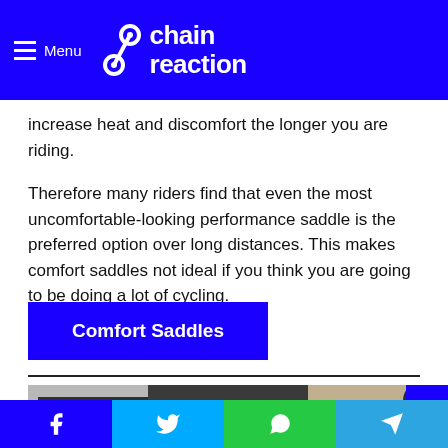Menu | Chain Reaction
increase heat and discomfort the longer you are riding.
Therefore many riders find that even the most uncomfortable-looking performance saddle is the preferred option over long distances. This makes comfort saddles not ideal if you think you are going to be doing a lot of cycling.
Comfort Saddles
[Figure (photo): Photo showing a leather saddle with 'SINCE 1866' text, labeled 'Saddle Spares']
Social share buttons: Facebook, Twitter, WhatsApp, Telegram